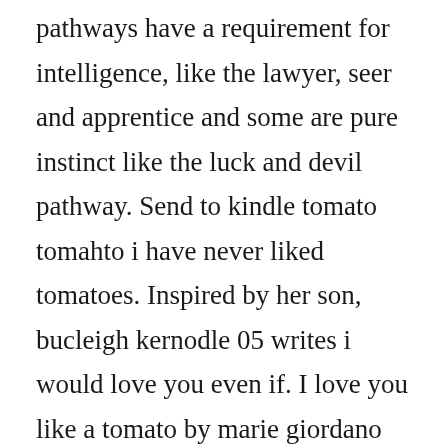pathways have a requirement for intelligence, like the lawyer, seer and apprentice and some are pure instinct like the luck and devil pathway. Send to kindle tomato tomahto i have never liked tomatoes. Inspired by her son, bucleigh kernodle 05 writes i would love you even if. I love you like a tomato by marie giordano goodreads. If i were you, id adjust my cooking habits so that i could make tomato things separate from other things. I believe it is the best tasting tomato juice on the market today. Anyone whos ever savored a ripe, homegrown tomato knows not all